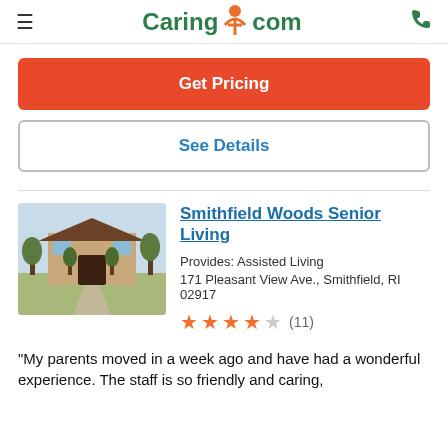Caring.com
Get Pricing
See Details
Smithfield Woods Senior Living
Provides: Assisted Living
171 Pleasant View Ave., Smithfield, RI 02917
★★★★☆ (11)
"My parents moved in a week ago and have had a wonderful experience. The staff is so friendly and caring,